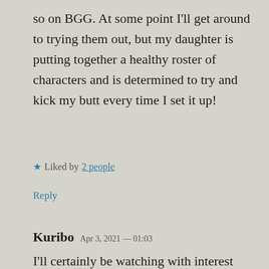so on BGG. At some point I'll get around to trying them out, but my daughter is putting together a healthy roster of characters and is determined to try and kick my butt every time I set it up!
★ Liked by 2 people
Reply
Kuribo  Apr 3, 2021 — 01:03
I'll certainly be watching with interest